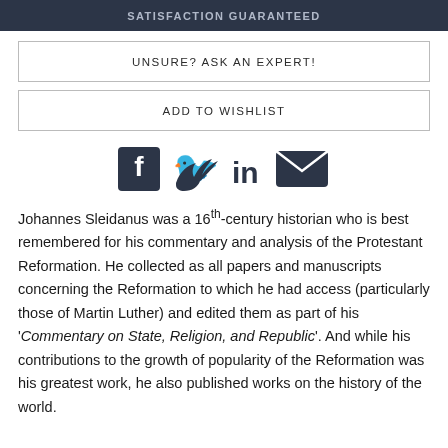SATISFACTION GUARANTEED
UNSURE? ASK AN EXPERT!
ADD TO WISHLIST
[Figure (infographic): Social media icons: Facebook, Twitter, LinkedIn, Email]
Johannes Sleidanus was a 16th-century historian who is best remembered for his commentary and analysis of the Protestant Reformation. He collected as all papers and manuscripts concerning the Reformation to which he had access (particularly those of Martin Luther) and edited them as part of his 'Commentary on State, Religion, and Republic'. And while his contributions to the growth of popularity of the Reformation was his greatest work, he also published works on the history of the world.